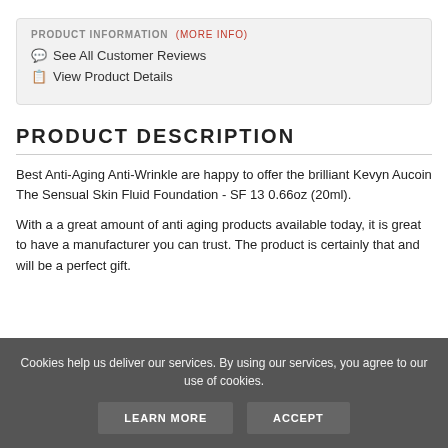PRODUCT INFORMATION (more info)
See All Customer Reviews
View Product Details
PRODUCT DESCRIPTION
Best Anti-Aging Anti-Wrinkle are happy to offer the brilliant Kevyn Aucoin The Sensual Skin Fluid Foundation - SF 13 0.66oz (20ml).
With a a great amount of anti aging products available today, it is great to have a manufacturer you can trust. The product is certainly that and will be a perfect gift.
Cookies help us deliver our services. By using our services, you agree to our use of cookies.